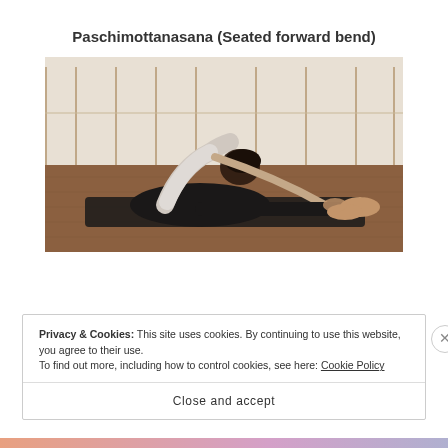Paschimottanasana (Seated forward bend)
[Figure (photo): Person performing Paschimottanasana (seated forward bend) yoga pose on a dark mat in a bright studio with wooden floor and large windows in background.]
Privacy & Cookies: This site uses cookies. By continuing to use this website, you agree to their use.
To find out more, including how to control cookies, see here: Cookie Policy
Close and accept